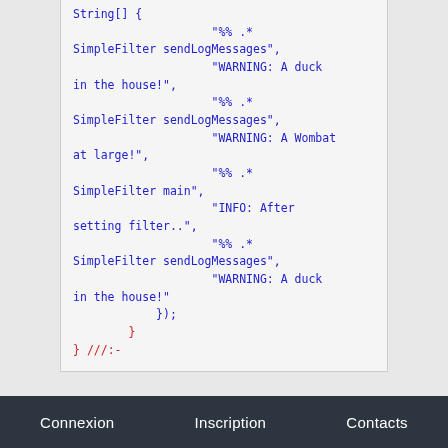[Figure (screenshot): Code snippet showing Java/C++ style array of string patterns for SimpleFilter and log messages]
Connexion   Inscription   Contacts